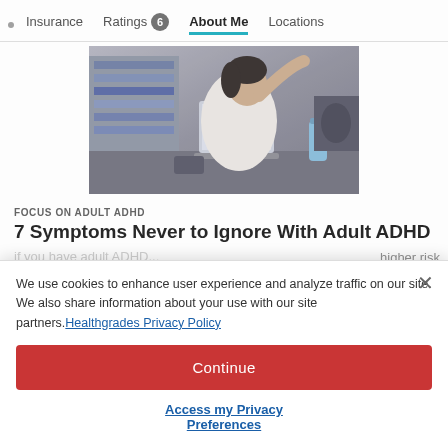Insurance  Ratings 6  About Me  Locations
[Figure (photo): Woman in white shirt working at laptop in office setting]
FOCUS ON ADULT ADHD
7 Symptoms Never to Ignore With Adult ADHD
higher risk ions that iety, ance...
We use cookies to enhance user experience and analyze traffic on our site. We also share information about your use with our site partners. Healthgrades Privacy Policy
Continue
Access my Privacy Preferences